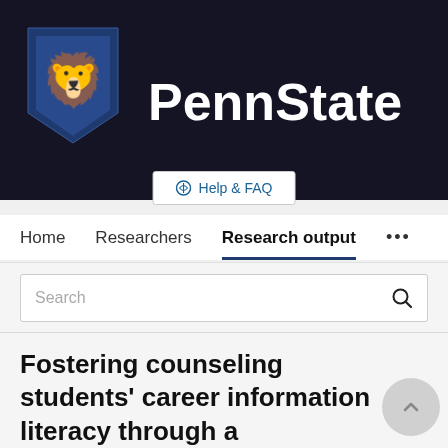[Figure (logo): Penn State University logo with lion shield and PennState text on dark background]
Help & FAQ
Home   Researchers   Research output   ...
Search
Fostering counseling students' career information literacy through a comprehensive career web site